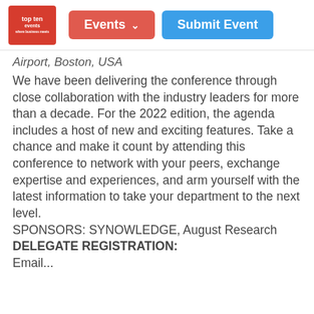Events  Submit Event
Airport, Boston, USA
We have been delivering the conference through close collaboration with the industry leaders for more than a decade. For the 2022 edition, the agenda includes a host of new and exciting features. Take a chance and make it count by attending this conference to network with your peers, exchange expertise and experiences, and arm yourself with the latest information to take your department to the next level.
SPONSORS: SYNOWLEDGE, August Research
DELEGATE REGISTRATION:
Email...